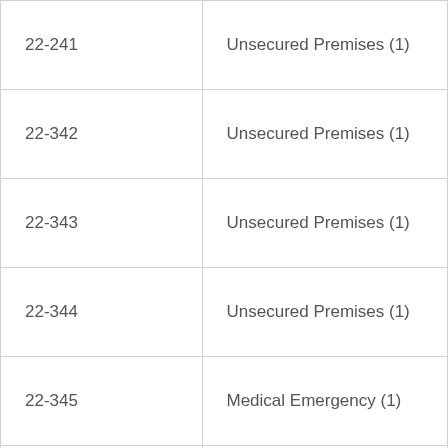| 22-241 | Unsecured Premises (1) |
| 22-342 | Unsecured Premises (1) |
| 22-343 | Unsecured Premises (1) |
| 22-344 | Unsecured Premises (1) |
| 22-345 | Medical Emergency (1) |
| 22-346 | Unsecured Premises (1) |
| 22-347 | Unsecured Premises (1) |
|  |  |